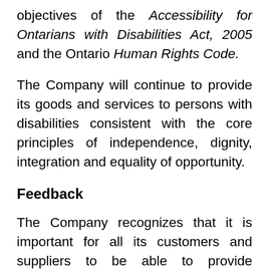(…company…) objectives of the Accessibility for Ontarians with Disabilities Act, 2005 and the Ontario Human Rights Code.
The Company will continue to provide its goods and services to persons with disabilities consistent with the core principles of independence, dignity, integration and equality of opportunity.
Feedback
The Company recognizes that it is important for all its customers and suppliers to be able to provide feedback without limitations due to disability or illness. Without limiting any existing form of communication or feedback, members of the public, employees, customers and suppliers are entitled and welcomed to